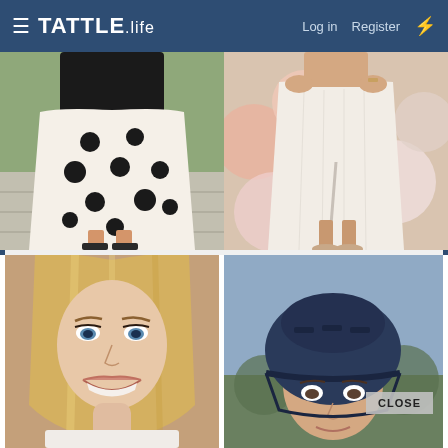≡ TATTLE.life   Log in   Register   ⚡
[Figure (photo): Person wearing a white dress with large black polka dots and black cardigan, standing on tile patio, wearing black sandals]
[Figure (photo): Person in a white lace/textured midi skirt with slit, standing in front of pink and white balloons, wearing nude heels]
[Figure (photo): Blonde woman with blue eyes, smiling, close-up portrait]
[Figure (photo): Person wearing a dark blue bicycle helmet, outdoor setting, with CLOSE button overlay]